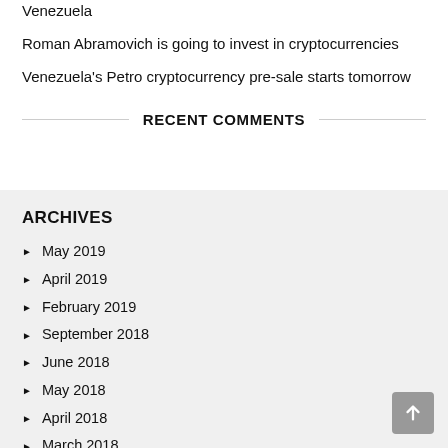Venezuela
Roman Abramovich is going to invest in cryptocurrencies
Venezuela's Petro cryptocurrency pre-sale starts tomorrow
RECENT COMMENTS
ARCHIVES
May 2019
April 2019
February 2019
September 2018
June 2018
May 2018
April 2018
March 2018